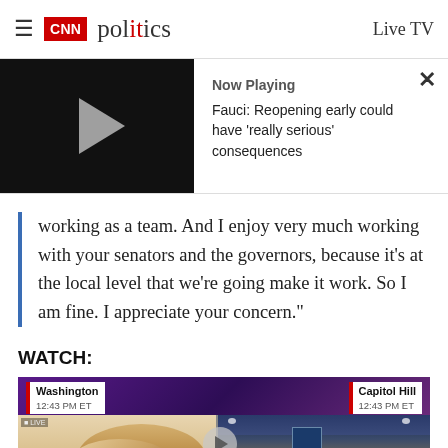CNN politics | Live TV
[Figure (screenshot): Video player thumbnail with play button (black background). Now Playing: Fauci: Reopening early could have 'really serious' consequences]
working as a team. And I enjoy very much working with your senators and the governors, because it's at the local level that we're going make it work. So I am fine. I appreciate your concern."
WATCH:
[Figure (screenshot): CNN split-screen video showing Washington 12:43 PM ET and Capitol Hill 12:43 PM ET. Left panel: woman with short blonde hair. Right panel: Senate hearing room.]